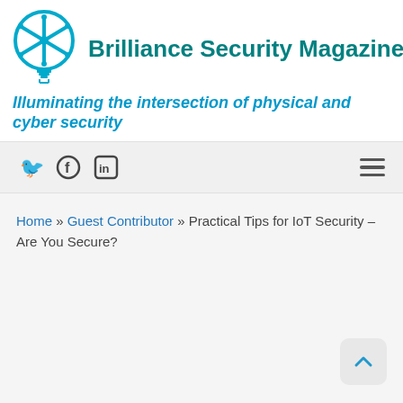Brilliance Security Magazine
Illuminating the intersection of physical and cyber security
Social media icons: Twitter, Facebook, LinkedIn; Hamburger menu
Home » Guest Contributor » Practical Tips for IoT Security – Are You Secure?